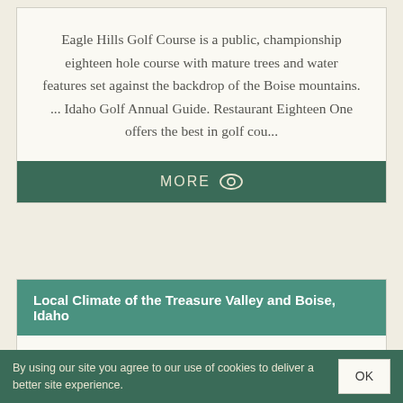Eagle Hills Golf Course is a public, championship eighteen hole course with mature trees and water features set against the backdrop of the Boise mountains. ... Idaho Golf Annual Guide. Restaurant Eighteen One offers the best in golf cou...
MORE
Local Climate of the Treasure Valley and Boise, Idaho
The City of Boise is located in the Treasure Valley which is a part of the larger Snake River Valley of Southern Idaho. The Boise Air Terminal known as Gowen ...
By using our site you agree to our use of cookies to deliver a better site experience.